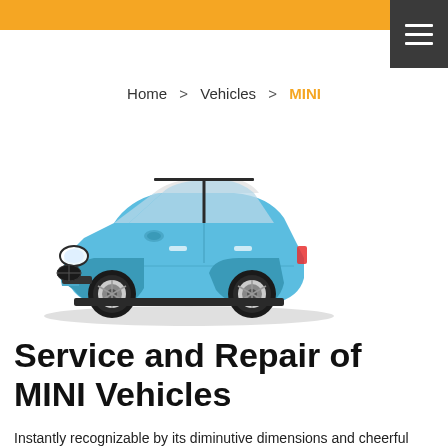Home > Vehicles > MINI
[Figure (illustration): Blue MINI Cooper hatchback car viewed from front-left three-quarter angle]
Service and Repair of MINI Vehicles
Instantly recognizable by its diminutive dimensions and cheerful boxy